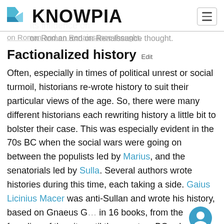KNOWPIA
on Roman and on Renaissance thought.
Factionalized history  Edit
Often, especially in times of political unrest or social turmoil, historians re-wrote history to suit their particular views of the age. So, there were many different historians each rewriting history a little bit to bolster their case. This was especially evident in the 70s BC when the social wars were going on between the populists led by Marius, and the senatorials led by Sulla. Several authors wrote histories during this time, each taking a side. Gaius Licinius Macer was anti-Sullan and wrote his history, based on Gnaeus G... in 16 books, from the founding of the city until th... century BC, whereas Valerius Antias who was pro-